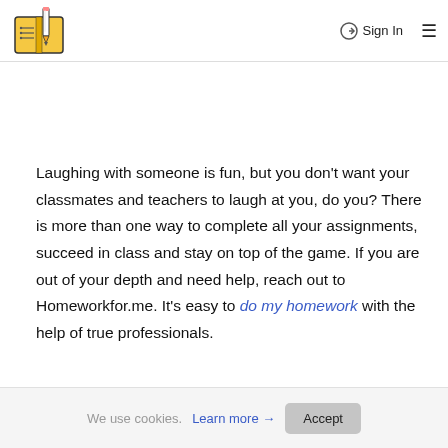Sign In ☰
[Figure (logo): Homework help website logo: an illustrated open book with a pencil, gold and dark blue color scheme]
Laughing with someone is fun, but you don't want your classmates and teachers to laugh at you, do you? There is more than one way to complete all your assignments, succeed in class and stay on top of the game. If you are out of your depth and need help, reach out to Homeworkfor.me. It's easy to do my homework with the help of true professionals.
You can finally forget about sleepless nights, lame excuses,
We use cookies. Learn more → Accept